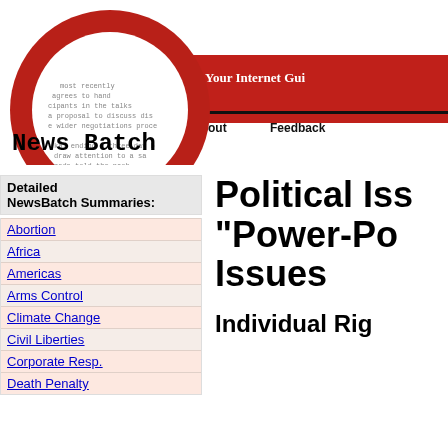[Figure (logo): NewsBatch logo: red ring circle with newspaper text inside, 'News Batch' text overlay, red horizontal banner with 'Your Internet Gui...' text, black divider line, About and Feedback navigation links]
Detailed
NewsBatch Summaries:
Abortion
Africa
Americas
Arms Control
Climate Change
Civil Liberties
Corporate Resp.
Death Penalty
Political Iss... "Power-Po... Issues
Individual Rig...